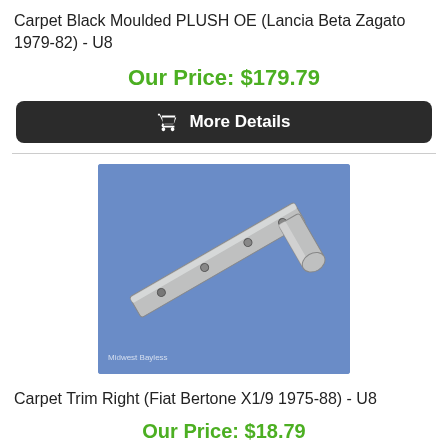Carpet Black Moulded PLUSH OE (Lancia Beta Zagato 1979-82) - U8
Our Price: $179.79
[Figure (other): More Details button with shopping cart icon, dark background]
[Figure (photo): Photo of a metal carpet trim strip/bracket piece on blue background, product part for Fiat Bertone X1/9]
Carpet Trim Right (Fiat Bertone X1/9 1975-88) - U8
Our Price: $18.79
[Figure (other): More Details button with shopping cart icon, dark background, partially visible]